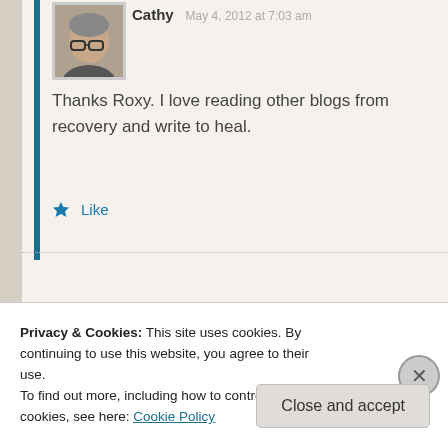[Figure (photo): Avatar photo of user Cathy, older woman with glasses]
Cathy   May 4, 2012 at 7:03 am
Thanks Roxy. I love reading other blogs from recovery and write to heal.
★ Like
[Figure (photo): Avatar photo of user kireerjourney, young woman with glasses]
kireerjourney   November 9, 2012 at 2:5...
Privacy & Cookies: This site uses cookies. By continuing to use this website, you agree to their use.
To find out more, including how to control cookies, see here: Cookie Policy
Close and accept